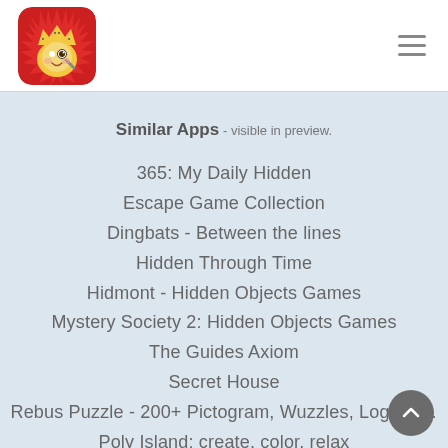[Figure (logo): App logo: cartoon character with yellow crown hat and magnifying glass on red background]
Similar Apps - visible in preview.
365: My Daily Hidden
Escape Game Collection
Dingbats - Between the lines
Hidden Through Time
Hidmont - Hidden Objects Games
Mystery Society 2: Hidden Objects Games
The Guides Axiom
Secret House
Rebus Puzzle - 200+ Pictogram, Wuzzles, Logic A…
Poly Island: create, color, relax